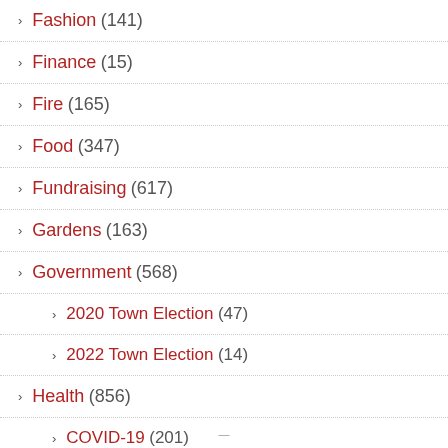Fashion (141)
Finance (15)
Fire (165)
Food (347)
Fundraising (617)
Gardens (163)
Government (568)
2020 Town Election (47)
2022 Town Election (14)
Health (856)
COVID-19 (201)
Hikes (4)